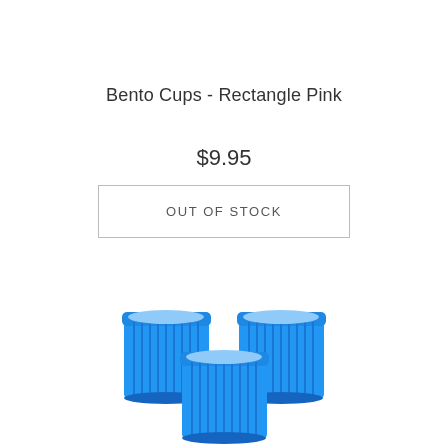Bento Cups - Rectangle Pink
$9.95
OUT OF STOCK
[Figure (photo): Three blue ribbed silicone bento cups arranged in a triangular formation, viewed from a slight angle above]